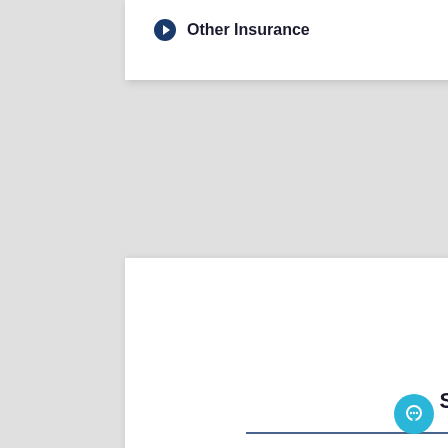Other Insurance
[Figure (illustration): Map location pin icon in muted blue/slate color]
Servicing States
Michigan
Ohio
Illinois